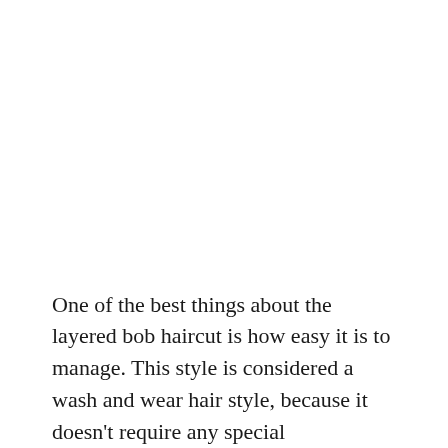One of the best things about the layered bob haircut is how easy it is to manage. This style is considered a wash and wear hair style, because it doesn't require any special